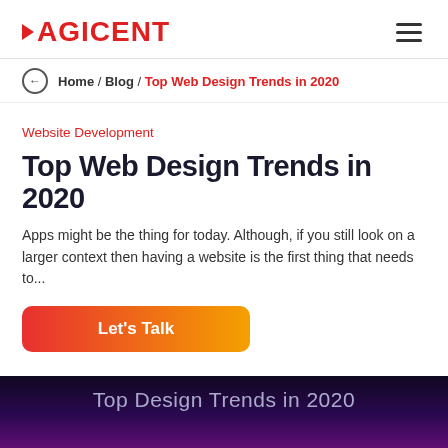AGICENT
Home / Blog / Top Web Design Trends in 2020
Website Development
Top Web Design Trends in 2020
Apps might be the thing for today. Although, if you still look on a larger context then having a website is the first thing that needs to...
Let's Talk
[Figure (screenshot): Dark banner image with text 'Top Design Trends in 2020' on a purple/magenta gradient background with a computer monitor graphic below]